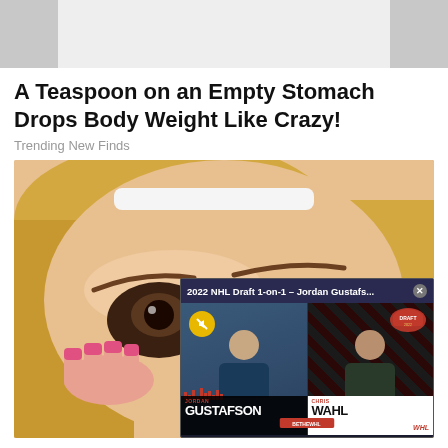[Figure (photo): Top cropped advertisement image strip, light gray background with dark side panels]
A Teaspoon on an Empty Stomach Drops Body Weight Like Crazy!
Trending New Finds
[Figure (screenshot): Woman with blonde hair applying coffee grounds eye makeup treatment, with a floating video overlay popup for '2022 NHL Draft 1-on-1 - Jordan Gustafs...' showing JORDAN GUSTAFSON and CHRIS WAHL on screen with WHL branding]